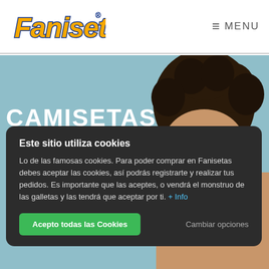[Figure (logo): Fanisetas logo — stylized orange and yellow text with blue outline]
≡ MENU
[Figure (photo): Hero banner with light blue background and a person with curly hair peeking over edge; large white text reads CAMISETAS OUTLET]
Este sitio utiliza cookies
Lo de las famosas cookies. Para poder comprar en Fanisetas debes aceptar las cookies, así podrás registrarte y realizar tus pedidos. Es importante que las aceptes, o vendrá el monstruo de las galletas y las tendrá que aceptar por ti. + Info
Acepto todas las Cookies
Cambiar opciones